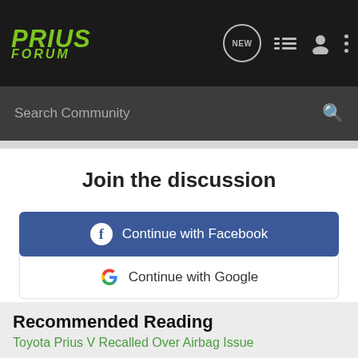PRIUS FORUM
Search Community
Join the discussion
Continue with Facebook
Continue with Google
or sign up with email
Recommended Reading
Toyota Prius V Recalled Over Airbag Issue